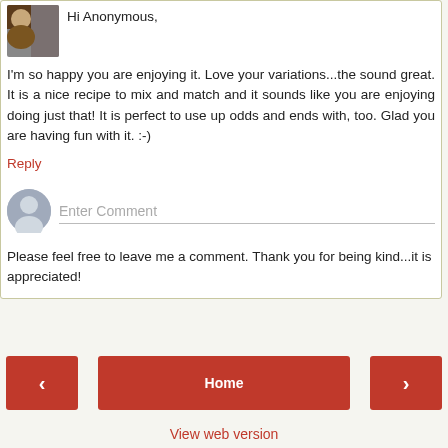[Figure (photo): Small square avatar photo of a person or pet in top-left corner]
Hi Anonymous,
I'm so happy you are enjoying it. Love your variations...the sound great. It is a nice recipe to mix and match and it sounds like you are enjoying doing just that! It is perfect to use up odds and ends with, too. Glad you are having fun with it. :-)
Reply
[Figure (illustration): Anonymous user avatar circle icon for comment input]
Enter Comment
Please feel free to leave me a comment. Thank you for being kind...it is appreciated!
‹
Home
›
View web version